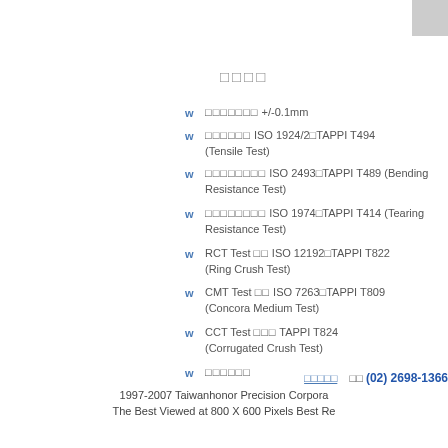□□□□
□□□□□□□ +/-0.1mm
□□□□□□ ISO 1924/2□TAPPI T494 (Tensile Test)
□□□□□□□□ ISO 2493□TAPPI T489 (Bending Resistance Test)
□□□□□□□□ ISO 1974□TAPPI T414 (Tearing Resistance Test)
RCT Test □□ ISO 12192□TAPPI T822 (Ring Crush Test)
CMT Test □□ ISO 7263□TAPPI T809 (Concora Medium Test)
CCT Test □□□ TAPPI T824 (Corrugated Crush Test)
□□□□□□
□□□□□   □□ (02) 2698-1366
1997-2007 Taiwanhonor Precision Corpora...
The Best Viewed at 800 X 600 Pixels Best Re...